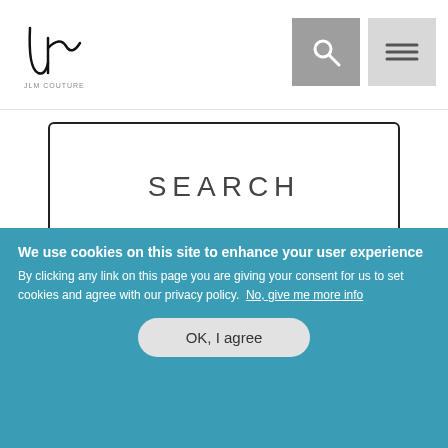JLM Couture logo / navigation header with search and menu icons
SEARCH
TI ADORA ON INSTAGRAM
tiadorabri... 1 DAYS AGO
tiadorabri... 5 DAYS AGO
tiadorabri... AUGUST 16
We use cookies on this site to enhance your user experience By clicking any link on this page you are giving your consent for us to set cookies and agree with our privacy policy. No, give me more info
OK, I agree